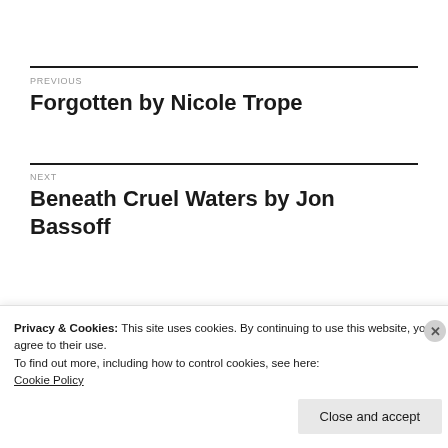PREVIOUS
Forgotten by Nicole Trope
NEXT
Beneath Cruel Waters by Jon Bassoff
Privacy & Cookies: This site uses cookies. By continuing to use this website, you agree to their use.
To find out more, including how to control cookies, see here:
Cookie Policy